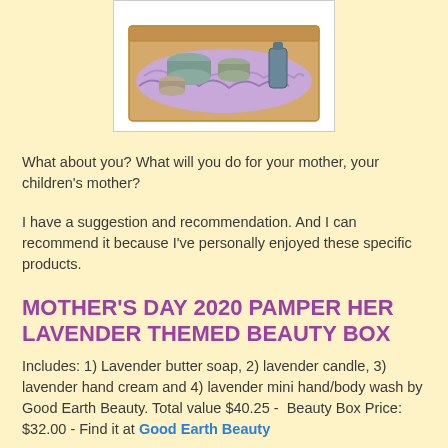[Figure (photo): A cardboard gift box filled with lavender-themed beauty products nestled in purple shredded paper, viewed from above. Products include tins, a bottle, and other beauty items.]
What about you? What will you do for your mother, your children's mother?
I have a suggestion and recommendation. And I can recommend it because I've personally enjoyed these specific products.
MOTHER'S DAY 2020 PAMPER HER LAVENDER THEMED BEAUTY BOX
Includes: 1) Lavender butter soap, 2) lavender candle, 3) lavender hand cream and 4) lavender mini hand/body wash by Good Earth Beauty. Total value $40.25 - Beauty Box Price: $32.00 - Find it at Good Earth Beauty